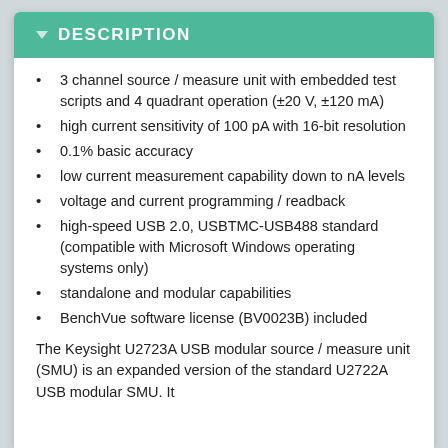DESCRIPTION
3 channel source / measure unit with embedded test scripts and 4 quadrant operation (±20 V, ±120 mA)
high current sensitivity of 100 pA with 16-bit resolution
0.1% basic accuracy
low current measurement capability down to nA levels
voltage and current programming / readback
high-speed USB 2.0, USBTMC-USB488 standard (compatible with Microsoft Windows operating systems only)
standalone and modular capabilities
BenchVue software license (BV0023B) included
The Keysight U2723A USB modular source / measure unit (SMU) is an expanded version of the standard U2722A USB modular SMU. It